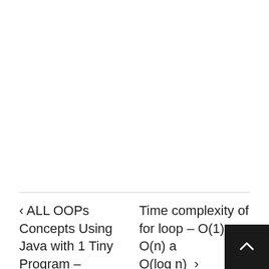◀ ALL OOPs Concepts Using Java with 1 Tiny Program – Explained!
Time complexity of for loop – O(1) O(n) and O(log n) ▶